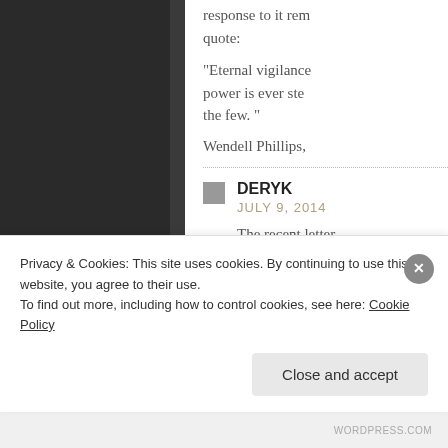response to it rem quote:
“Eternal vigilance power is ever ste the few.”
Wendell Phillips,
DERYK
JULY 9, 2014
The recent letter Nanaimo City Cou BCCLA website. I Anderson has rea
Privacy & Cookies: This site uses cookies. By continuing to use this website, you agree to their use.
To find out more, including how to control cookies, see here: Cookie Policy
Close and accept